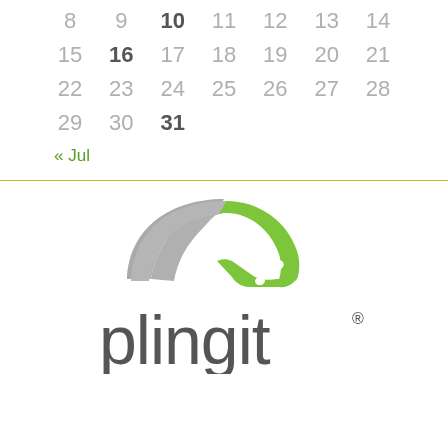| 8 | 9 | 10 | 11 | 12 | 13 | 14 |
| 15 | 16 | 17 | 18 | 19 | 20 | 21 |
| 22 | 23 | 24 | 25 | 26 | 27 | 28 |
| 29 | 30 | 31 |  |  |  |  |
« Jul
[Figure (logo): Plingit logo: an arch shape in gray and green with the text 'plingit' in dark gray below, with a registered trademark symbol]